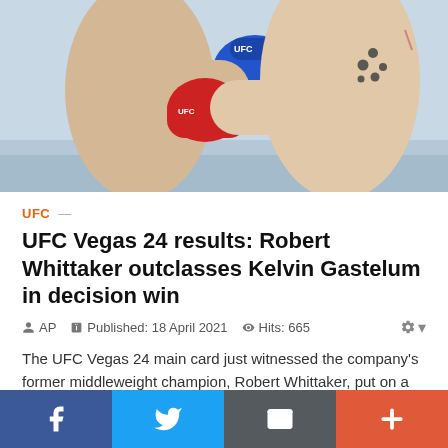[Figure (photo): Two UFC fighters in close range combat, one wearing blue gloves (left) and one wearing red gloves with a Southern Cross tattoo on chest (right), inside a UFC octagon with blue mat visible]
UFC —
UFC Vegas 24 results: Robert Whittaker outclasses Kelvin Gastelum in decision win
AP   Published: 18 April 2021   Hits: 665
The UFC Vegas 24 main card just witnessed the company's former middleweight champion, Robert Whittaker, put on a masterful performance in a unanimous decision win over former title challenger, Kelvin Gastelum. The counters of Whittaker were dialed in all night, as was his footwork and wrestling for that matter. Robert won each round on every scorecard, and has now amassed a three-fight winning streak